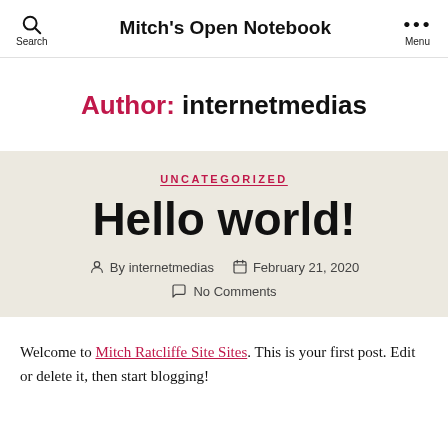Mitch's Open Notebook
Author: internetmedias
UNCATEGORIZED
Hello world!
By internetmedias   February 21, 2020   No Comments
Welcome to Mitch Ratcliffe Site Sites. This is your first post. Edit or delete it, then start blogging!